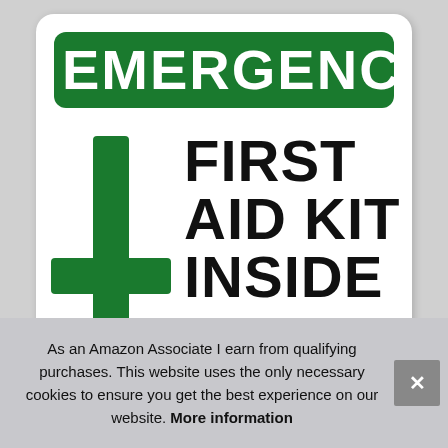[Figure (photo): Emergency First Aid Kit Inside sign — white rectangular sign with rounded corners showing 'EMERGENCY' in large white text on a green background banner at the top, a large green plus/cross symbol on the lower left, and 'FIRST AID KIT INSIDE' in large bold black text on the lower right.]
As an Amazon Associate I earn from qualifying purchases. This website uses the only necessary cookies to ensure you get the best experience on our website. More information